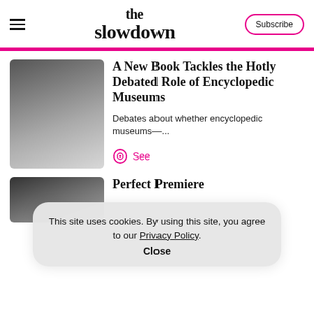the slowdown
[Figure (photo): Blurred square thumbnail image, dark gradient from top-left]
A New Book Tackles the Hotly Debated Role of Encyclopedic Museums
Debates about whether encyclopedic museums—...
See
[Figure (photo): Blurred square thumbnail image, dark gradient]
Perfect Premiere
This site uses cookies. By using this site, you agree to our Privacy Policy. Close